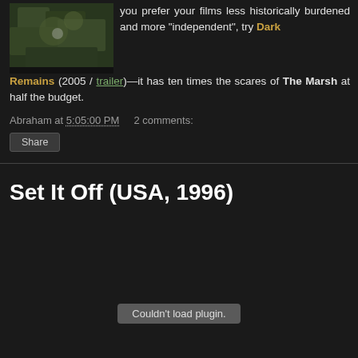[Figure (photo): Small thumbnail photo of a dark green leafy/mossy scene, likely a film still]
you prefer your films less historically burdened and more "independent", try Dark Remains (2005 / trailer)—it has ten times the scares of The Marsh at half the budget.
Abraham at 5:05:00 PM   2 comments:
Share
Set It Off (USA, 1996)
[Figure (screenshot): Couldn't load plugin. — embedded video area that failed to load]